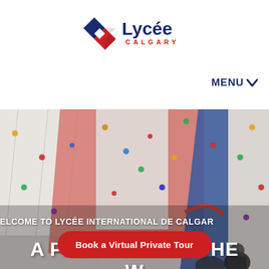[Figure (logo): Lycée Calgary logo with diamond shape in blue and red, text 'Lycée CALGARY']
MENU ✓
[Figure (photo): Indoor climbing wall with colorful holds, people in background]
WELCOME TO LYCÉE INTERNATIONAL DE CALGARY
A PASSPORT TO THE WORLD
Book a Virtual Private Tour